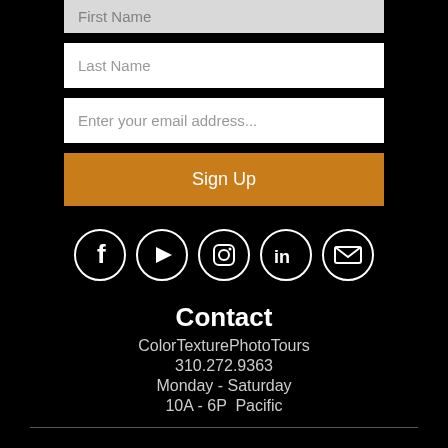Last Name
Enter your email address...
Sign Up
[Figure (illustration): Row of five circular social media icons: Facebook, YouTube, Instagram, LinkedIn, Email]
Contact
ColorTexturePhotoTours
310.272.9363
Monday - Saturday
10A - 6P  Pacific